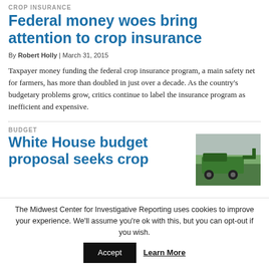CROP INSURANCE
Federal money woes bring attention to crop insurance
By Robert Holly | March 31, 2015
Taxpayer money funding the federal crop insurance program, a main safety net for farmers, has more than doubled in just over a decade. As the country's budgetary problems grow, critics continue to label the insurance program as inefficient and expensive.
BUDGET
White House budget proposal seeks crop
[Figure (photo): A green agricultural harvester/combine machine photographed outdoors against a grey sky.]
The Midwest Center for Investigative Reporting uses cookies to improve your experience. We'll assume you're ok with this, but you can opt-out if you wish.